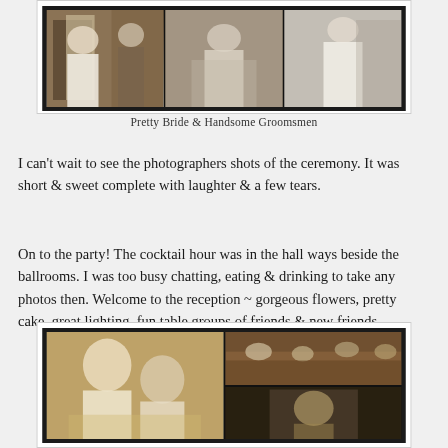[Figure (photo): Collage of wedding photos showing bride in white dress and groomsmen, three panels side by side with dark border]
Pretty Bride & Handsome Groomsmen
I can't wait to see the photographers shots of the ceremony. It was short & sweet complete with laughter & a few tears.
On to the party! The cocktail hour was in the hall ways beside the ballrooms. I was too busy chatting, eating & drinking to take any photos then. Welcome to the reception ~ gorgeous flowers, pretty cake, great lighting, fun table groups of friends & new friends.
[Figure (photo): Wedding reception photo collage: groom and bride smiling in foreground (left panel spanning full height), banquet hall with guests in upper right, another reception scene in lower right]